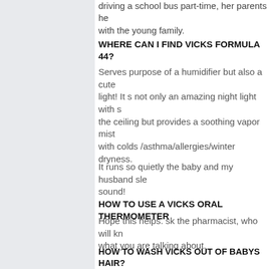driving a school bus part-time, her parents help with the young family.
WHERE CAN I FIND VICKS FORMULA 44?
Serves purpose of a humidifier but also a cute light! It s not only an amazing night light with s the ceiling but provides a soothing vapor mist with colds /asthma/allergies/winter dryness.
It runs so quietly the baby and my husband sle sound!
HOW TO USE A VICKS ORAL THERMOMETER
Hope this helps. sk the pharmacist, who will kn what you are talking about.
HOW TO WASH VICKS OUT OF BABYS HAIR?
Ltimately: It's a small hot plate with a built-in re for water. If the unit isn't kept clean, there is so odor as might be expected. Overall, I'm quite satisfied. This device is exactly what it's advert be, and that's fine with me.